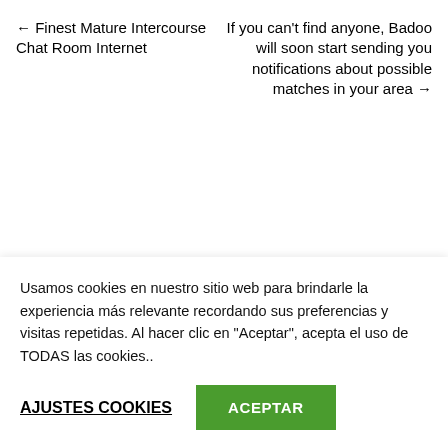← Finest Mature Intercourse Chat Room Internet
If you can't find anyone, Badoo will soon start sending you notifications about possible matches in your area →
Deja una respuesta
Usamos cookies en nuestro sitio web para brindarle la experiencia más relevante recordando sus preferencias y visitas repetidas. Al hacer clic en "Aceptar", acepta el uso de TODAS las cookies..
AJUSTES COOKIES
ACEPTAR